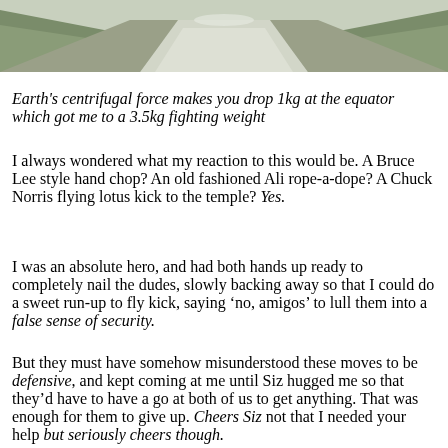[Figure (photo): Outdoor path or road receding into the distance, flanked by greenery on both sides, viewed from a low angle.]
Earth's centrifugal force makes you drop 1kg at the equator which got me to a 3.5kg fighting weight
I always wondered what my reaction to this would be. A Bruce Lee style hand chop? An old fashioned Ali rope-a-dope? A Chuck Norris flying lotus kick to the temple? Yes.
I was an absolute hero, and had both hands up ready to completely nail the dudes, slowly backing away so that I could do a sweet run-up to fly kick, saying ‘no, amigos’ to lull them into a false sense of security.
But they must have somehow misunderstood these moves to be defensive, and kept coming at me until Siz hugged me so that they’d have to have a go at both of us to get anything. That was enough for them to give up. Cheers Siz not that I needed your help but seriously cheers though.